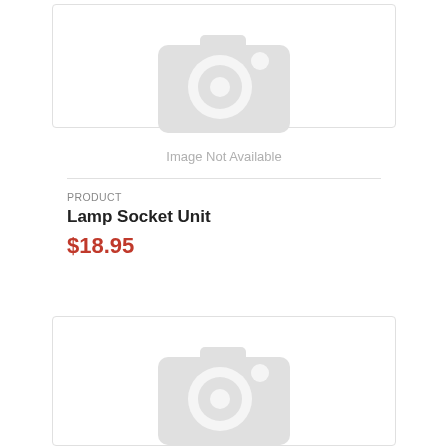[Figure (photo): Camera placeholder icon indicating image not available, with text 'Image Not Available' below]
PRODUCT
Lamp Socket Unit
$18.95
[Figure (photo): Camera placeholder icon indicating image not available for a second product]